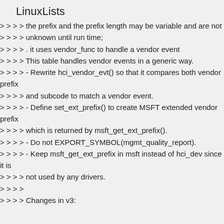LinuxLists
> > > > the prefix and the prefix length may be variable and are not
> > > > unknown until run time;
> > > > . it uses vendor_func to handle a vendor event
> > > > This table handles vendor events in a generic way.
> > > > - Rewrite hci_vendor_evt() so that it compares both vendor prefix
> > > > and subcode to match a vendor event.
> > > > - Define set_ext_prefix() to create MSFT extended vendor prefix
> > > > which is returned by msft_get_ext_prefix().
> > > > - Do not EXPORT_SYMBOL(mgmt_quality_report).
> > > > - Keep msft_get_ext_prefix in msft instead of hci_dev since it is
> > > > not used by any drivers.
> > > >
> > > > Changes in v3: